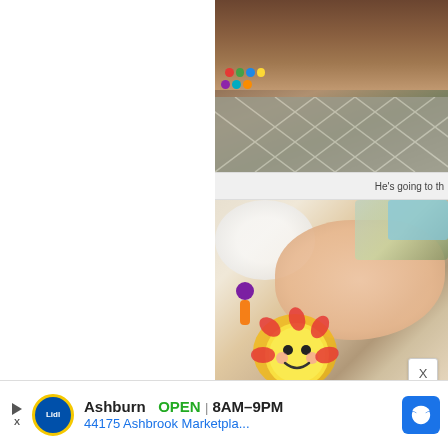[Figure (photo): Photo of a floor with wood and carpet area with colorful toy beads, viewed from above. Carpet has a diamond/lattice pattern in gray.]
He's going to th
[Figure (photo): Close-up photo of a baby lying down near colorful baby toys including a plush sun toy and other small toys.]
X
[Figure (infographic): Advertisement banner: Lidl logo, Ashburn OPEN 8AM-9PM, 44175 Ashbrook Marketpla..., with navigation arrow icon. Play/X buttons on left side.]